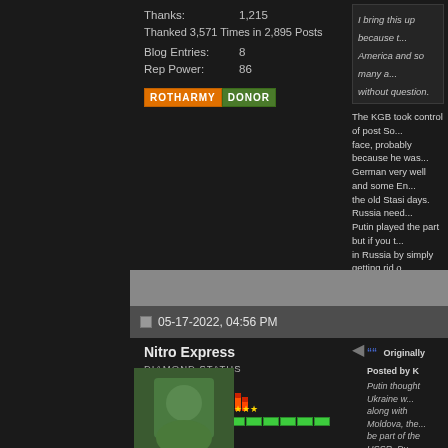Thanks: 1,215
Thanked 3,571 Times in 2,895 Posts
Blog Entries: 8
Rep Power: 86
[Figure (other): ROTHARMY DONOR badge - orange and green text badge]
I bring this up because t... America and so many a... without question.
The KGB took control of post So... face, probably because he was... German very well and some En... the old Stasi days. Russia need... Putin played the part but if you t... in Russia by simply getting rid o... car by breaking off the hood orr...
Sorry. Americans and Western E... as Russia is concerned.
05-17-2022, 04:56 PM
Nitro Express
DIAMOND STATUS
Originally Posted by K...
Putin thought Ukraine w... along with Moldova, the... be part of the USSR. Pu... the sanctions would be s... targeted. The Russi...